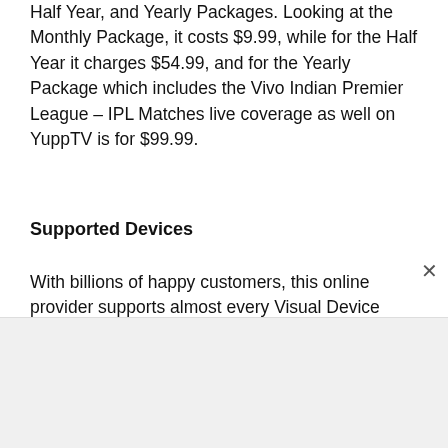Half Year, and Yearly Packages. Looking at the Monthly Package, it costs $9.99, while for the Half Year it charges $54.99, and for the Yearly Package which includes the Vivo Indian Premier League – IPL Matches live coverage as well on YuppTV is for $99.99.
Supported Devices
With billions of happy customers, this online provider supports almost every Visual Device from which few are stated below: